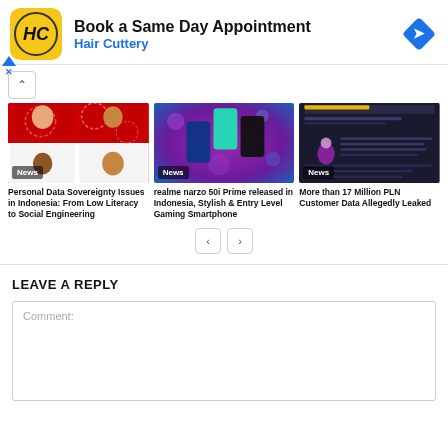[Figure (infographic): Hair Cuttery advertisement banner. Yellow square logo with HC initials, text 'Book a Same Day Appointment' and 'Hair Cuttery', blue diamond navigation icon on right.]
[Figure (photo): News thumbnail: video grid of people with Indonesian flag backdrop, labeled 'News'. Article: Personal Data Sovereignty Issues in Indonesia: From Low Literacy to Social Engineering]
Personal Data Sovereignty Issues in Indonesia: From Low Literacy to Social Engineering
[Figure (photo): News thumbnail: realme narzo 50i Prime smartphone on purple/pink bokeh background, labeled 'News'.]
realme narzo 50i Prime released in Indonesia, Stylish & Entry Level Gaming Smartphone
[Figure (screenshot): News thumbnail: dark webpage screenshot showing leaked PLN data, labeled 'News'.]
More than 17 Million PLN Customer Data Allegedly Leaked
LEAVE A REPLY
Comment: